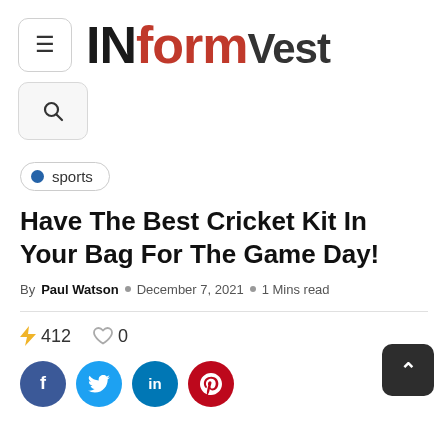INformVest
sports
Have The Best Cricket Kit In Your Bag For The Game Day!
By Paul Watson  ○  December 7, 2021  ○  1 Mins read
⚡ 412   ♡ 0
[Figure (other): Social share icons: Facebook, Twitter, LinkedIn, Pinterest]